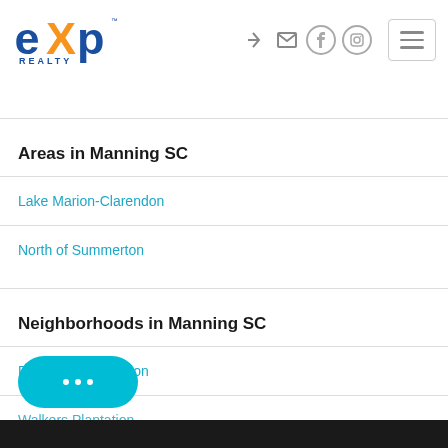[Figure (logo): eXp Realty logo — 'ex' in blue with orange 'X', 'p' in blue, REALTY below in blue]
Areas in Manning SC
Lake Marion-Clarendon
North of Summerton
Neighborhoods in Manning SC
Deercreek Plantation
Walkers Plantation